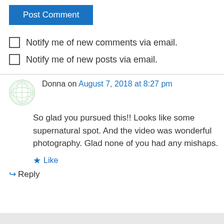Post Comment
Notify me of new comments via email.
Notify me of new posts via email.
Donna on August 7, 2018 at 8:27 pm
So glad you pursued this!! Looks like some supernatural spot. And the video was wonderful photography. Glad none of you had any mishaps.
Like
Reply